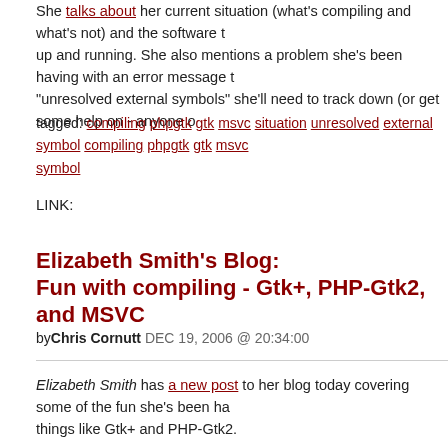She talks about her current situation (what's compiling and what's not) and the software t up and running. She also mentions a problem she's been having with an error message t "unresolved external symbols" she'll need to track down (or get some help on - anyone o
tagged: compiling phpgtk gtk msvc situation unresolved external symbol compiling phpgtk gtk msvc symbol
LINK:
Elizabeth Smith's Blog:
Fun with compiling - Gtk+, PHP-Gtk2, and MSVC
byChris Cornutt DEC 19, 2006 @ 20:34:00
Elizabeth Smith has a new post to her blog today covering some of the fun she's been ha things like Gtk+ and PHP-Gtk2.
So I've been using microsoft visual studio (actually it's Visual C++ Express, but behind the scenes) to work on getting things compiled on windows. PHP-Gtk2 a extensions, well at least on linux. So I've been working to get versions of libgla gtksourceview and mozembed working on windows. It's a long, slow process. H far.
She talks about her current situation (what's compiling and what's not) and the software t up and running. She also mentions a problem she's been having with an error message t